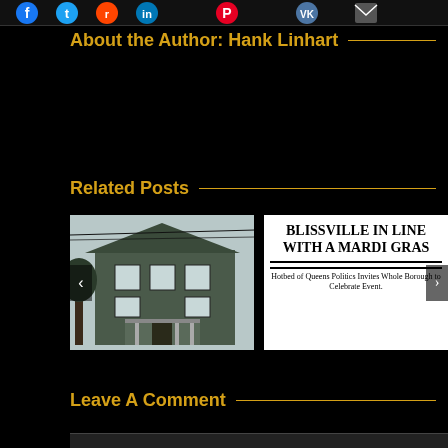[Figure (other): Social media sharing icons row at top: Facebook, Twitter, Reddit, LinkedIn, Pinterest, VK, Email]
About the Author: Hank Linhart
Related Posts
[Figure (photo): Black and white photo of a large Victorian-era house with porch and multiple stories]
[Figure (other): Newspaper clipping: BLISSVILLE IN LINE WITH A MARDI GRAS - Hotbed of Queens Politics Invites Whole Borough to Celebrate Event.]
Leave A Comment